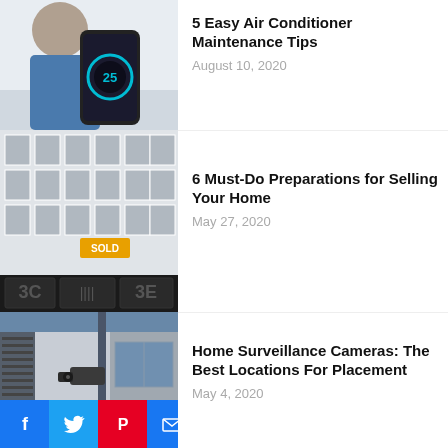[Figure (photo): Person holding a smartphone with thermostat app showing 25 degrees, AC unit in background]
5 Easy Air Conditioner Maintenance Tips
August 10, 2020
[Figure (photo): Exterior of a building with a SOLD sign]
6 Must-Do Preparations for Selling Your Home
May 27, 2020
[Figure (photo): Security camera mounted on exterior wall of building]
Home Surveillance Cameras: The Best Locations For Placement
May 4, 2020